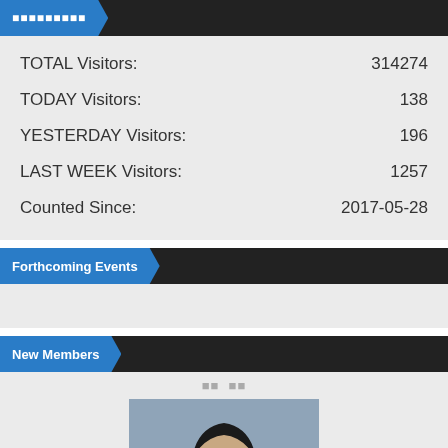¤¤¤¤¤¤¤¤¤
| Label | Value |
| --- | --- |
| TOTAL Visitors: | 314274 |
| TODAY Visitors: | 138 |
| YESTERDAY Visitors: | 196 |
| LAST WEEK Visitors: | 1257 |
| Counted Since: | 2017-05-28 |
Forthcoming Events
New Members
¤¤  ¤¤
[Figure (photo): Portrait photo of a new member, person with dark hair against a blue-grey background.]